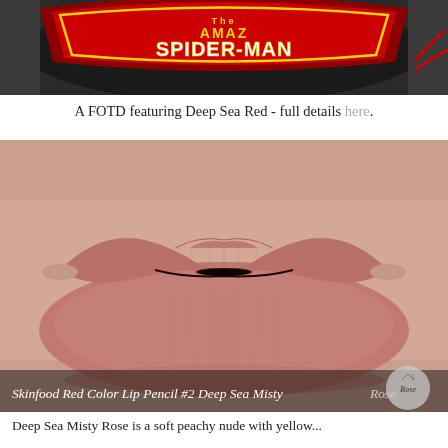[Figure (photo): Top portion of a Spider-Man themed image showing 'The Amazing Spider-Man' logo/text in red, yellow and blue on a dark background]
A FOTD featuring Deep Sea Red - full details here.
[Figure (photo): Close-up macro photo of lips wearing a muted peachy-nude mauve lipstick shade, with text overlay reading 'Skinfood Red Color Lip Pencil #2 Deep Sea Misty Rose']
Skinfood Red Color Lip Pencil #2 Deep Sea Misty Rose
Deep Sea Misty Rose is a soft peachy nude with yellow...